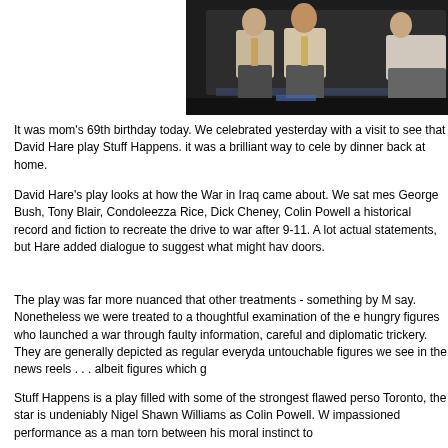[Figure (photo): A dark stage photo showing people (actors) seated on chairs, partially cropped. The image is cut off on the right side.]
It was mom's 69th birthday today. We celebrated yesterday with a visit to see that David Hare play Stuff Happens. it was a brilliant way to cele... by dinner back at home.
David Hare's play looks at how the War in Iraq came about. We sat mes... George Bush, Tony Blair, Condoleezza Rice, Dick Cheney, Colin Powell a... historical record and fiction to recreate the drive to war after 9-11. A lot... actual statements, but Hare added dialogue to suggest what might hav... doors.
The play was far more nuanced that other treatments - something by M... say. Nonetheless we were treated to a thoughtful examination of the e... hungry figures who launched a war through faulty information, careful... and diplomatic trickery. They are generally depicted as regular everyday... untouchable figures we see in the news reels . . . albeit figures which g...
Stuff Happens is a play filled with some of the strongest flawed perso... Toronto, the star is undeniably Nigel Shawn Williams as Colin Powell. W... impassioned performance as a man torn between his moral instinct to...